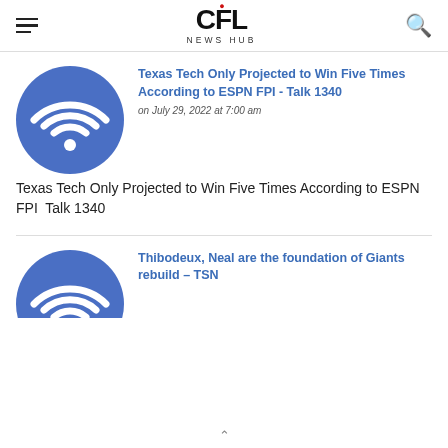CFL NEWS HUB
[Figure (logo): CFL News Hub logo with Canadian maple leaf and navigation icons]
Texas Tech Only Projected to Win Five Times According to ESPN FPI - Talk 1340
on July 29, 2022 at 7:00 am
Texas Tech Only Projected to Win Five Times According to ESPN FPI  Talk 1340
Thibodeux, Neal are the foundation of Giants rebuild – TSN